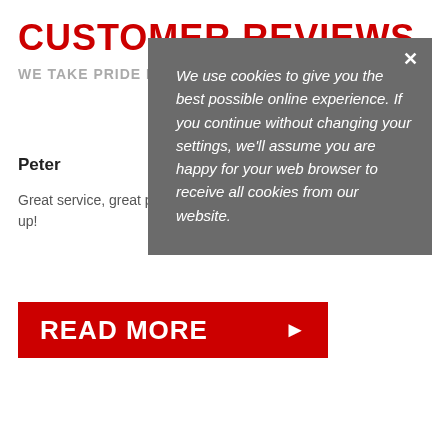CUSTOMER REVIEWS
WE TAKE PRIDE IN YOUR SATISFACTION.
Peter
Great service, great prices and a great set up!
[Figure (other): Cookie consent overlay popup with grey background and italic white text: 'We use cookies to give you the best possible online experience. If you continue without changing your settings, we'll assume you are happy for your web browser to receive all cookies from our website.' with an X close button.]
READ MORE